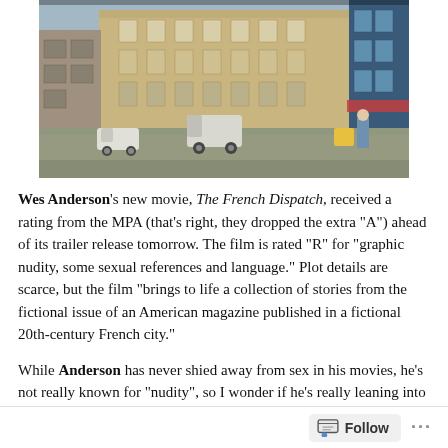[Figure (photo): A street scene from the movie The French Dispatch, showing a French city square with old buildings, a white van, and figures in the foreground.]
Wes Anderson's new movie, The French Dispatch, received a rating from the MPA (that's right, they dropped the extra "A") ahead of its trailer release tomorrow. The film is rated "R" for "graphic nudity, some sexual references and language." Plot details are scarce, but the film "brings to life a collection of stories from the fictional issue of an American magazine published in a fictional 20th-century French city."
While Anderson has never shied away from sex in his movies, he's not really known for "nudity", so I wonder if he's really leaning into it, or if there's a two-second shot of a penis, the MPA freaked out, and now that the film is Rated R. I'm inclined to believe it's the latter, but it would be interesting to see if Anderson, with his emphasis on clean
Follow ...